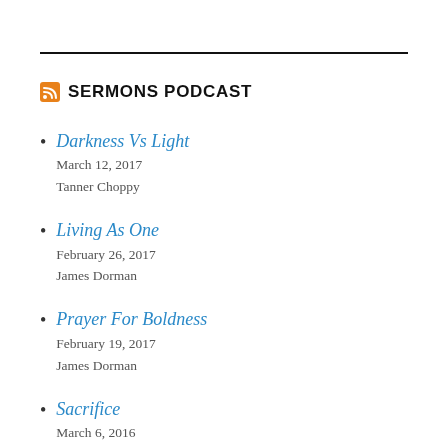SERMONS PODCAST
Darkness Vs Light
March 12, 2017
Tanner Choppy
Living As One
February 26, 2017
James Dorman
Prayer For Boldness
February 19, 2017
James Dorman
Sacrifice
March 6, 2016
James Dorman